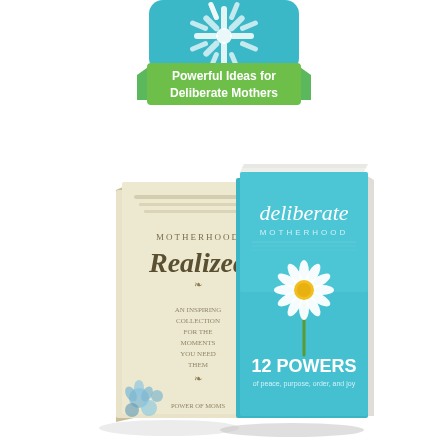[Figure (logo): Logo with teal snowflake/flower icon at top and green ribbon banner below reading 'Powerful Ideas for Deliberate Mothers']
[Figure (photo): Two books side by side: 'Motherhood Realized' on the left (cream/beige cover with blue flowers) and 'deliberate motherhood - 12 Powers of peace, purpose, order, and joy' on the right (teal/blue cover with a daisy flower)]